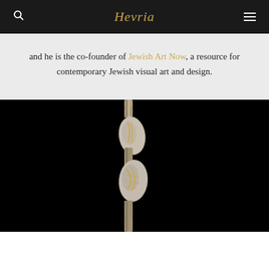Hevria
and he is the co-founder of Jewish Art Now, a resource for contemporary Jewish visual art and design.
[Figure (photo): Dark photograph showing hands gripping a rope with gold/yellow threading or paint, set against a black background.]